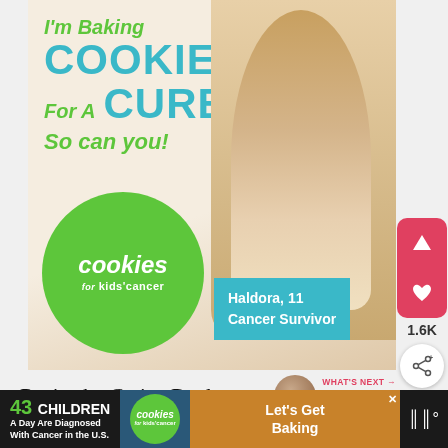[Figure (infographic): Cookies for Kids' Cancer fundraising advertisement showing a smiling girl holding cookies with text 'I'm Baking COOKIES For A CURE So can you!' and the Cookies for Kids' Cancer logo with 'Haldora, 11 Cancer Survivor' label]
Recipe by Carina Duclos
WHAT'S NEXT → Classic English...
[Figure (infographic): Bottom banner ad: '43 CHILDREN A Day Are Diagnosed With Cancer in the U.S.' with Cookies for Kids' Cancer logo and 'Let's Get Baking' button]